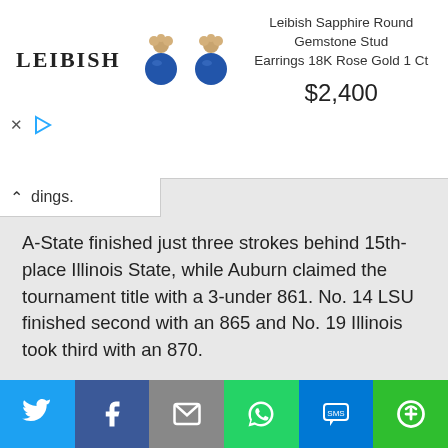[Figure (screenshot): Advertisement banner for Leibish Sapphire Round Gemstone Stud Earrings 18K Rose Gold 1 Ct priced at $2,400, showing LEIBISH logo, product image of blue sapphire earrings in rose gold settings, product name and price]
dings.
A-State finished just three strokes behind 15th-place Illinois State, while Auburn claimed the tournament title with a 3-under 861. No. 14 LSU finished second with an 865 and No. 19 Illinois took third with an 870.
“This is by far the toughest field we’ve played all year, so it was good to compete against some of the top teams and players in the country,” said ASU head coach Steve Johnson. “We’re definitely showing some rust after the winter, but we will continue to work
[Figure (screenshot): Social share bar with Twitter, Facebook, Email, WhatsApp, SMS, and More buttons]